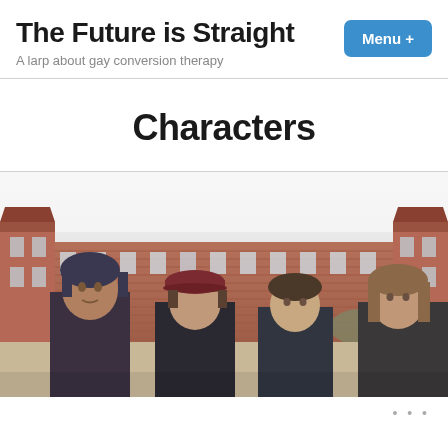The Future is Straight
A larp about gay conversion therapy
Characters
[Figure (photo): Group photo of four young people standing in front of a large brick building with towers. From left to right: a person with dark hair, a person wearing a dark red/maroon beret, a person with shorter hair, and a person with longer hair. The building in the background appears to be an institutional or school building with red brick and distinctive towers on each side.]